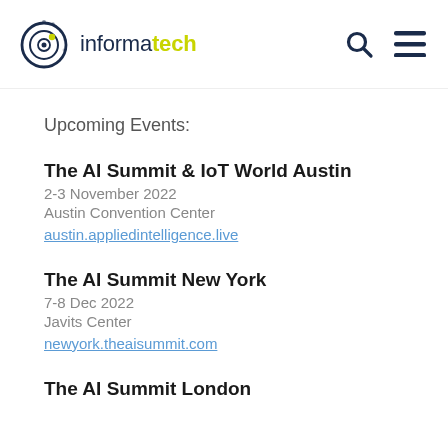informa tech
Upcoming Events:
The AI Summit & IoT World Austin
2-3 November 2022
Austin Convention Center
austinn.appliedintelligence.live
The AI Summit New York
7-8 Dec 2022
Javits Center
newyork.theaisummit.com
The AI Summit London